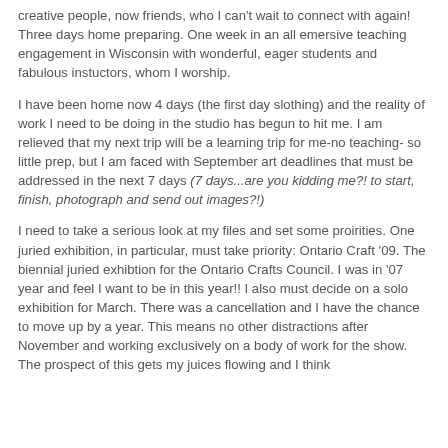creative people, now friends, who I can't wait to connect with again! Three days home preparing. One week in an all emersive teaching engagement in Wisconsin with wonderful, eager students and fabulous instuctors, whom I worship.
I have been home now 4 days (the first day slothing) and the reality of work I need to be doing in the studio has begun to hit me. I am relieved that my next trip will be a learning trip for me-no teaching- so little prep, but I am faced with September art deadlines that must be addressed in the next 7 days (7 days...are you kidding me?! to start, finish, photograph and send out images?!)
I need to take a serious look at my files and set some proirities. One juried exhibition, in particular, must take priority: Ontario Craft '09. The biennial juried exhibtion for the Ontario Crafts Council. I was in '07 year and feel I want to be in this year!! I also must decide on a solo exhibition for March. There was a cancellation and I have the chance to move up by a year. This means no other distractions after November and working exclusively on a body of work for the show. The prospect of this gets my juices flowing and I think